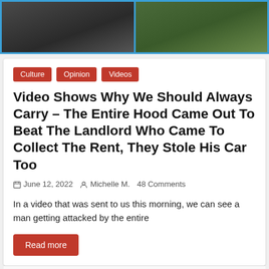[Figure (photo): Two side-by-side video still images with blue border: left panel shows people near a car on a street, right panel shows people on grass/outdoor area.]
Culture
Opinion
Videos
Video Shows Why We Should Always Carry – The Entire Hood Came Out To Beat The Landlord Who Came To Collect The Rent, They Stole His Car Too
June 12, 2022   Michelle M.   48 Comments
In a video that was sent to us this morning, we can see a man getting attacked by the entire
Read more